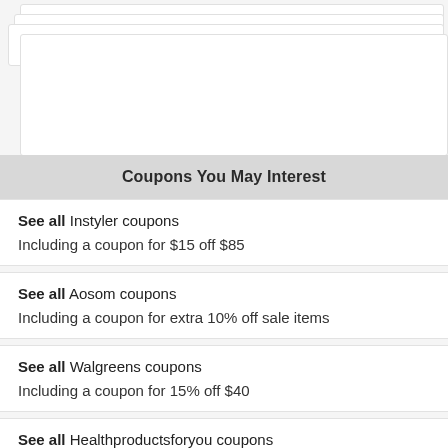[Figure (other): Stacked white card UI elements at top of page]
Coupons You May Interest
See all Instyler coupons
Including a coupon for $15 off $85
See all Aosom coupons
Including a coupon for extra 10% off sale items
See all Walgreens coupons
Including a coupon for 15% off $40
See all Healthproductsforyou coupons
Including a coupon for 10% off